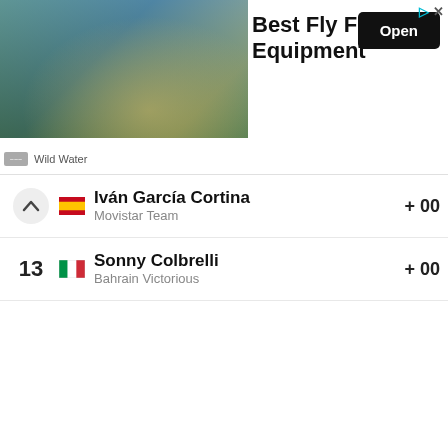[Figure (screenshot): Advertisement banner for 'Best Fly Fishing Equipment' by Wild Water, showing a person fly fishing on a misty lake, with an 'Open' button.]
| Rank | Flag | Rider | Team | Time |
| --- | --- | --- | --- | --- |
| ↑ | 🇪🇸 | Iván García Cortina | Movistar Team | + 00 |
| 13 | 🇮🇹 | Sonny Colbrelli | Bahrain Victorious | + 00 |